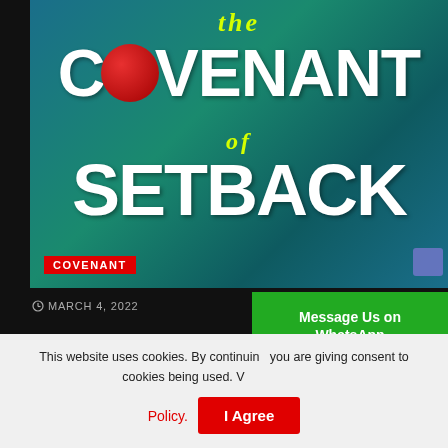[Figure (illustration): Book cover or promotional image with teal/green gradient background showing text 'the COVENANT of SETBACK' with large white bold lettering, a red circle/badge on the 'O' of COVENANT, yellow-green italic text for 'the' and 'of', and a red 'COVENANT' tag in the lower left corner.]
MARCH 4, 2022
JANUARY 14, 2022
This website uses cookies. By continuing you are giving consent to cookies being used. Visit our Privacy Policy.
Message Us on WhatsApp